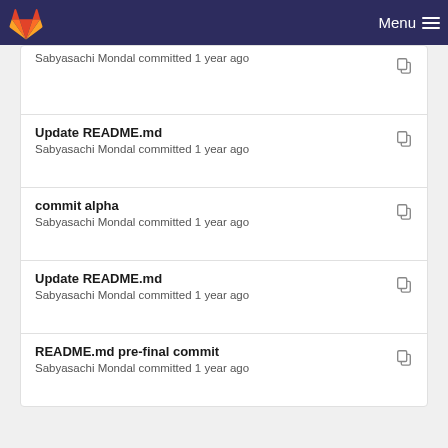GitLab — Menu
Sabyasachi Mondal committed 1 year ago
Update README.md — Sabyasachi Mondal committed 1 year ago
commit alpha — Sabyasachi Mondal committed 1 year ago
Update README.md — Sabyasachi Mondal committed 1 year ago
README.md pre-final commit — Sabyasachi Mondal committed 1 year ago